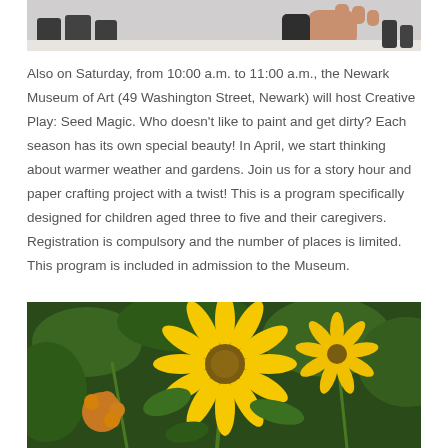[Figure (photo): Partial photo at top showing black pots and a hand on a light surface]
Also on Saturday, from 10:00 a.m. to 11:00 a.m., the Newark Museum of Art (49 Washington Street, Newark) will host Creative Play: Seed Magic. Who doesn't like to paint and get dirty? Each season has its own special beauty! In April, we start thinking about warmer weather and gardens. Join us for a story hour and paper crafting project with a twist! This is a program specifically designed for children aged three to five and their caregivers. Registration is compulsory and the number of places is limited. This program is included in admission to the Museum.
[Figure (photo): Photo of yellow flowers (sunflowers or black-eyed Susans) with green foliage in the background]